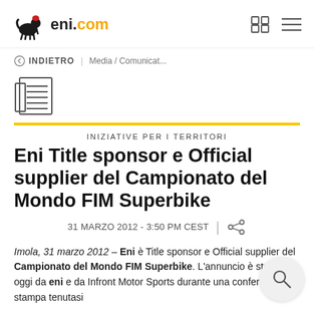eni.com
INDIETRO | Media / Comunicat...
[Figure (illustration): Newspaper icon with lines representing text, followed by a yellow horizontal bar]
INIZIATIVE PER I TERRITORI
Eni Title sponsor e Official supplier del Campionato del Mondo FIM Superbike
31 MARZO 2012 - 3:50 PM CEST
Imola, 31 marzo 2012 – Eni è Title sponsor e Official supplier del Campionato del Mondo FIM Superbike. L'annuncio è stato dato oggi da eni e da Infront Motor Sports durante una conferenza stampa tenutasi